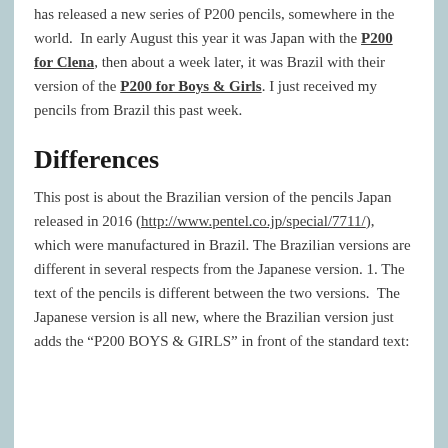has released a new series of P200 pencils, somewhere in the world. In early August this year it was Japan with the P200 for Clena, then about a week later, it was Brazil with their version of the P200 for Boys & Girls. I just received my pencils from Brazil this past week.
Differences
This post is about the Brazilian version of the pencils Japan released in 2016 (http://www.pentel.co.jp/special/7711/), which were manufactured in Brazil. The Brazilian versions are different in several respects from the Japanese version. 1. The text of the pencils is different between the two versions. The Japanese version is all new, where the Brazilian version just adds the "P200 BOYS & GIRLS" in front of the standard text: